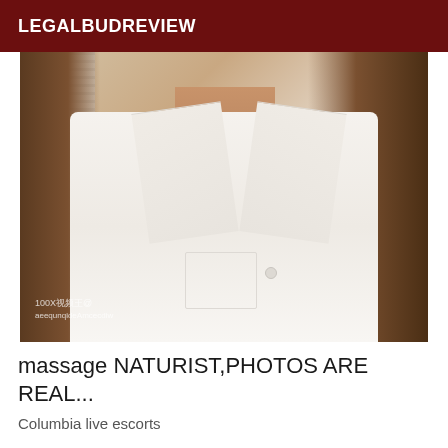LEGALBUDREVIEW
[Figure (photo): Close-up photo of a person wearing a white button-up shirt, with long dark hair visible on sides, face cropped out, watermark text visible at bottom left]
massage NATURIST,PHOTOS ARE REAL...
Columbia live escorts